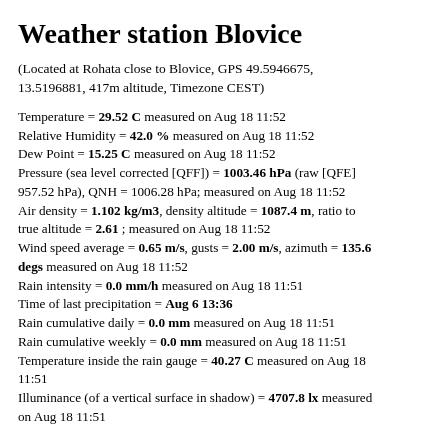Weather station Blovice
(Located at Rohata close to Blovice, GPS 49.5946675, 13.5196881, 417m altitude, Timezone CEST)
Temperature = 29.52 C measured on Aug 18 11:52
Relative Humidity = 42.0 % measured on Aug 18 11:52
Dew Point = 15.25 C measured on Aug 18 11:52
Pressure (sea level corrected [QFF]) = 1003.46 hPa (raw [QFE] 957.52 hPa), QNH = 1006.28 hPa; measured on Aug 18 11:52
Air density = 1.102 kg/m3, density altitude = 1087.4 m, ratio to true altitude = 2.61 ; measured on Aug 18 11:52
Wind speed average = 0.65 m/s, gusts = 2.00 m/s, azimuth = 135.6 degs measured on Aug 18 11:52
Rain intensity = 0.0 mm/h measured on Aug 18 11:51
Time of last precipitation = Aug 6 13:36
Rain cumulative daily = 0.0 mm measured on Aug 18 11:51
Rain cumulative weekly = 0.0 mm measured on Aug 18 11:51
Temperature inside the rain gauge = 40.27 C measured on Aug 18 11:51
Illuminance (of a vertical surface in shadow) = 4707.8 lx measured on Aug 18 11:51